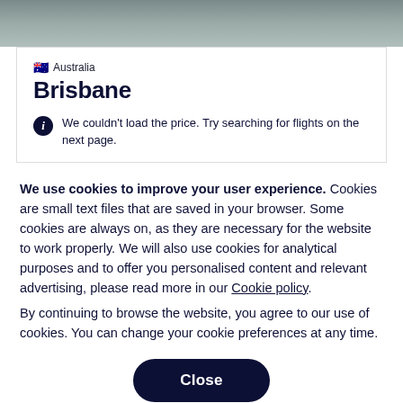[Figure (photo): Blurred grey-green photo strip at top of page, partially cropped]
🇦🇺 Australia
Brisbane
We couldn't load the price. Try searching for flights on the next page.
We use cookies to improve your user experience. Cookies are small text files that are saved in your browser. Some cookies are always on, as they are necessary for the website to work properly. We will also use cookies for analytical purposes and to offer you personalised content and relevant advertising, please read more in our Cookie policy.
By continuing to browse the website, you agree to our use of cookies. You can change your cookie preferences at any time.
Close
Set your cookie preferences